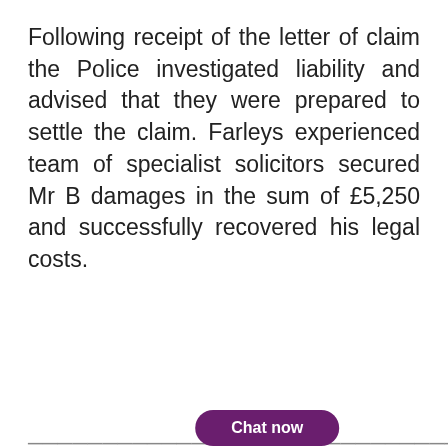Following receipt of the letter of claim the Police investigated liability and advised that they were prepared to settle the claim. Farleys experienced team of specialist solicitors secured Mr B damages in the sum of £5,250 and successfully recovered his legal costs.
This website uses cookies. Please refer to our privacy policy for more information. View privacy policy
Got it!
Chat now